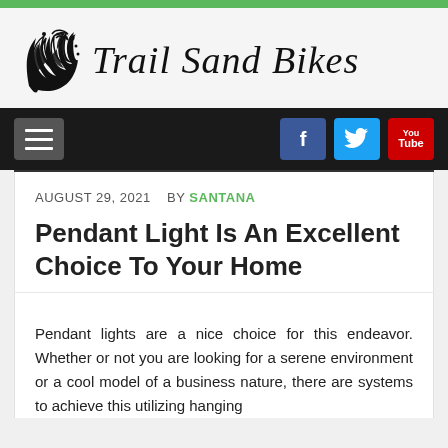Trail Sand Bikes
AUGUST 29, 2021  BY SANTANA
Pendant Light Is An Excellent Choice To Your Home
Pendant lights are a nice choice for this endeavor. Whether or not you are looking for a serene environment or a cool model of a business nature, there are systems to achieve this utilizing hanging